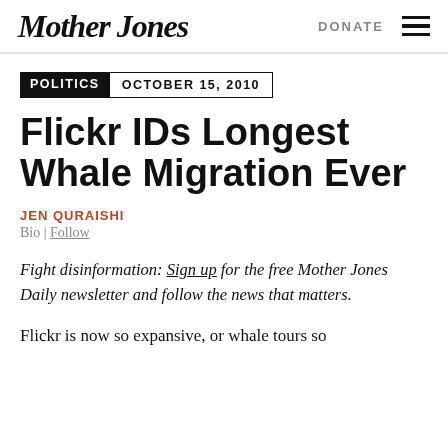Mother Jones | DONATE
POLITICS   OCTOBER 15, 2010
Flickr IDs Longest Whale Migration Ever
JEN QURAISHI
Bio | Follow
Fight disinformation: Sign up for the free Mother Jones Daily newsletter and follow the news that matters.
Flickr is now so expansive, or whale tours so